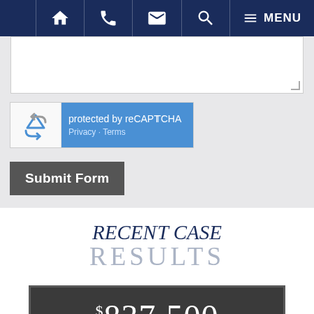Navigation bar with home, phone, email, search, and menu icons
[Figure (screenshot): Web form area with empty textarea input field, reCAPTCHA widget showing 'protected by reCAPTCHA' with Privacy and Terms links, and a Submit Form button]
RECENT CASE RESULTS
[Figure (infographic): Dark gray case result card showing $837,500 amount in white serif font with a blue chat bubble icon overlay]